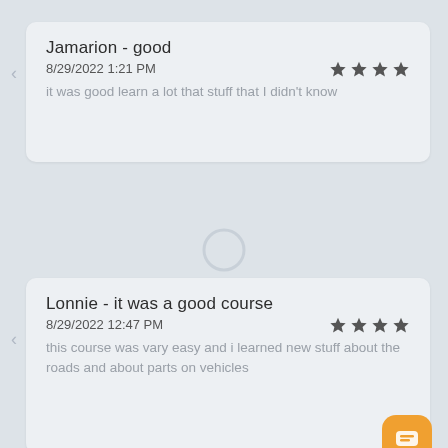Jamarion - good
8/29/2022 1:21 PM
it was good learn a lot that stuff that I didn't know
[Figure (illustration): Generic user/person silhouette avatar icon in light gray outline]
Lonnie - it was a good course
8/29/2022 12:47 PM
this course was vary easy and i learned new stuff about the roads and about parts on vehicles